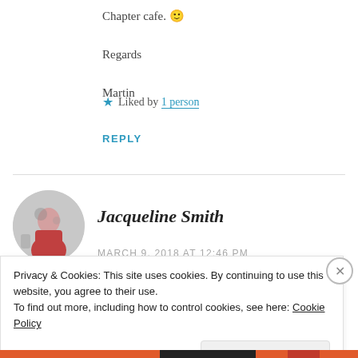Chapter cafe. 🙂

Regards

Martin
★ Liked by 1 person
REPLY
Jacqueline Smith
MARCH 9, 2018 AT 12:46 PM
Privacy & Cookies: This site uses cookies. By continuing to use this website, you agree to their use.
To find out more, including how to control cookies, see here: Cookie Policy
Close and accept